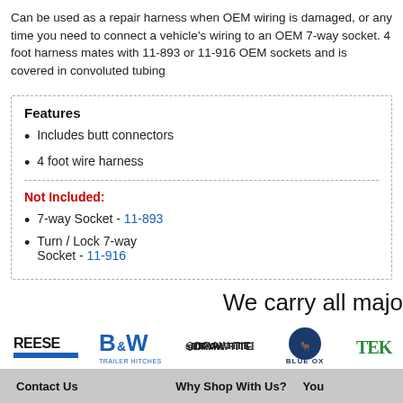Can be used as a repair harness when OEM wiring is damaged, or any time you need to connect a vehicle's wiring to an OEM 7-way socket. 4 foot harness mates with 11-893 or 11-916 OEM sockets and is covered in convoluted tubing
Features
Includes butt connectors
4 foot wire harness
Not Included:
7-way Socket - 11-893
Turn / Lock 7-way Socket - 11-916
We carry all majo
[Figure (logo): REESE brand logo with blue underline]
[Figure (logo): B&W Trailer Hitches logo in blue]
[Figure (logo): Draw-Tite logo]
[Figure (logo): Blue Ox logo with bull head icon]
[Figure (logo): TEK logo partial]
Contact Us    Why Shop With Us?    You